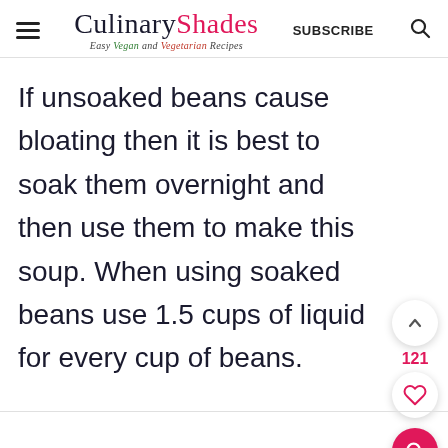CulinaryShades — Easy Vegan and Vegetarian Recipes | SUBSCRIBE
If unsoaked beans cause bloating then it is best to soak them overnight and then use them to make this soup. When using soaked beans use 1.5 cups of liquid for every cup of beans.